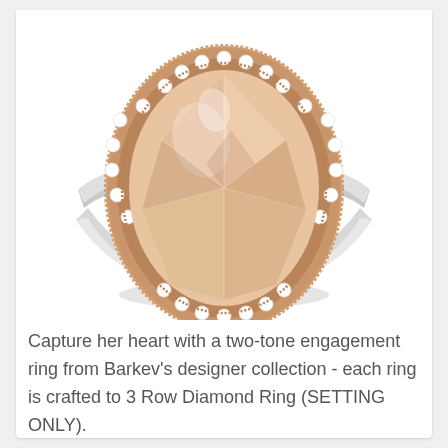[Figure (photo): A two-tone engagement ring featuring a large oval peach/morganite center stone set in a rose gold halo with round diamonds, on a white gold split shank band also set with small diamonds.]
Capture her heart with a two-tone engagement ring from Barkev's designer collection - each ring is crafted to 3 Row Diamond Ring (SETTING ONLY).